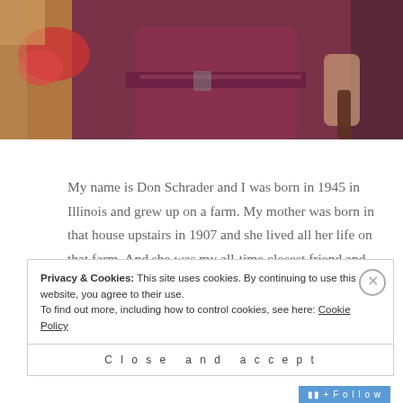[Figure (photo): Cropped photo of a person, partial torso view, wearing a dark maroon/burgundy outfit, with colorful items visible in the background]
My name is Don Schrader and I was born in 1945 in Illinois and grew up on a farm. My mother was born in that house upstairs in 1907 and she lived all her life on that farm. And she was my all-time closest friend and she died in '82 and after her death, my dad became, in some ways, the living person closest to me, but she was my all-time closest friend and he died in 1994.
Privacy & Cookies: This site uses cookies. By continuing to use this website, you agree to their use.
To find out more, including how to control cookies, see here: Cookie Policy
Close and accept